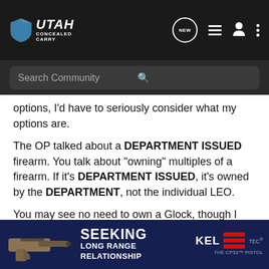Utah Concealed Carry — Search Community
options, I'd have to seriously consider what my options are.
The OP talked about a DEPARTMENT ISSUED firearm. You talk about "owning" multiples of a firearm. If it's DEPARTMENT ISSUED, it's owned by the DEPARTMENT, not the individual LEO.
You may see no need to own a Glock, though I can think of a few reasons why I would purchase a XD. Just because I woudln't use a firearm to defend myself, doesn't mean that it isn't a great gun to take to the range and shoot off a few rounds. I know of two local gun shops that have the XD selling at under $500. They brought the gun in a little over a year ago, and it ha[...] n gun to have co[...] ink:
[Figure (screenshot): Kel-Tec CP33 pistol advertisement banner reading SEEKING LONG RANGE RELATIONSHIP with gun image]